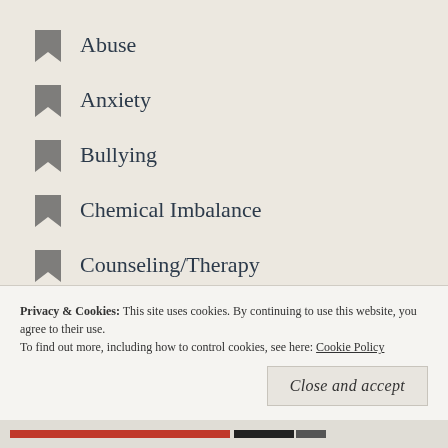Abuse
Anxiety
Bullying
Chemical Imbalance
Counseling/Therapy
Depression
Domestic Violence
Eating Disorders
Energy Healing
Essential Oils
Guest Bloggers
Health and Healing
Privacy & Cookies:  This site uses cookies. By continuing to use this website, you agree to their use.
To find out more, including how to control cookies, see here: Cookie Policy
Close and accept